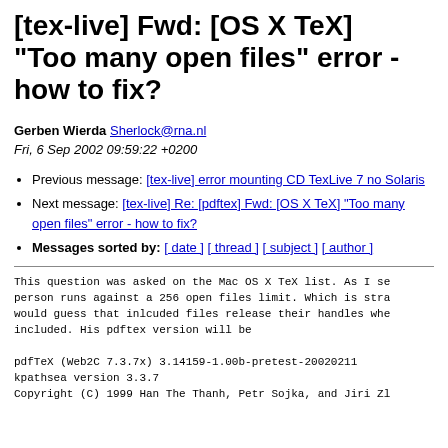[tex-live] Fwd: [OS X TeX] "Too many open files" error - how to fix?
Gerben Wierda Sherlock@rna.nl
Fri, 6 Sep 2002 09:59:22 +0200
Previous message: [tex-live] error mounting CD TexLive 7 no Solaris
Next message: [tex-live] Re: [pdftex] Fwd: [OS X TeX] "Too many open files" error - how to fix?
Messages sorted by: [ date ] [ thread ] [ subject ] [ author ]
This question was asked on the Mac OS X TeX list. As I se
person runs against a 256 open files limit. Which is stra
would guess that inlcuded files release their handles whe
included. His pdftex version will be

pdfTeX (Web2C 7.3.7x) 3.14159-1.00b-pretest-20020211
kpathsea version 3.3.7
Copyright (C) 1999 Han The Thanh, Petr Sojka, and Jiri Zl